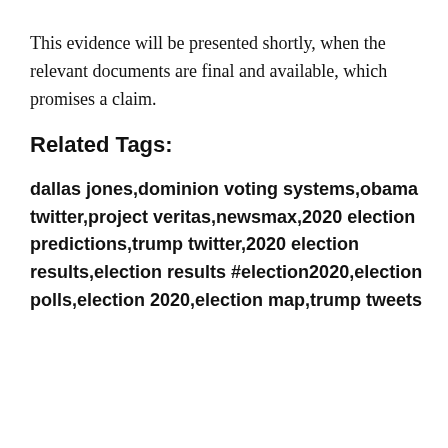This evidence will be presented shortly, when the relevant documents are final and available, which promises a claim.
Related Tags:
dallas jones,dominion voting systems,obama twitter,project veritas,newsmax,2020 election predictions,trump twitter,2020 election results,election results #election2020,election polls,election 2020,election map,trump tweets